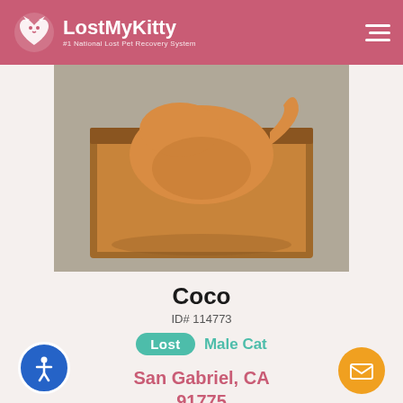LostMyKitty — #1 National Lost Pet Recovery System
[Figure (photo): Photo of an orange/golden cat sitting inside a brown cardboard box, viewed from above, on a grey carpet floor.]
Coco
ID# 114773
Lost  Male Cat
San Gabriel, CA 91775
Unknown
Golden
Lost: 2021-10-03